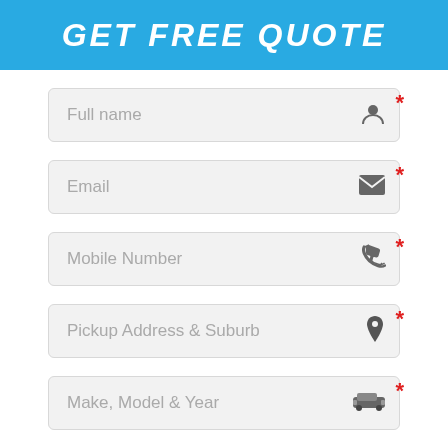GET FREE QUOTE
Full name
Email
Mobile Number
Pickup Address & Suburb
Make, Model & Year
Brief Description Of Vehicle